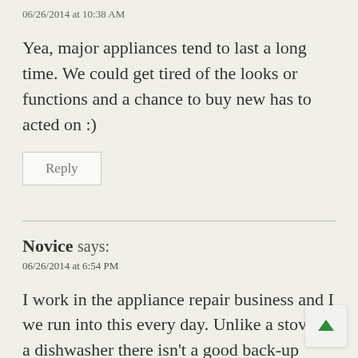06/26/2014 at 10:38 AM
Yea, major appliances tend to last a long time. We could get tired of the looks or functions and a chance to buy new has to acted on :)
Reply
Novice says:
06/26/2014 at 6:54 PM
I work in the appliance repair business and I we run into this every day. Unlike a stove or a dishwasher there isn't a good back-up solution short of another refrigerator/freezer. Other than the already